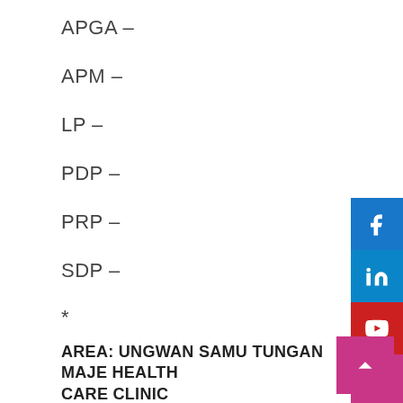APGA –
APM –
LP –
PDP –
PRP –
SDP –
*
AREA: UNGWAN SAMU TUNGAN MAJE HEALTH CARE CLINIC